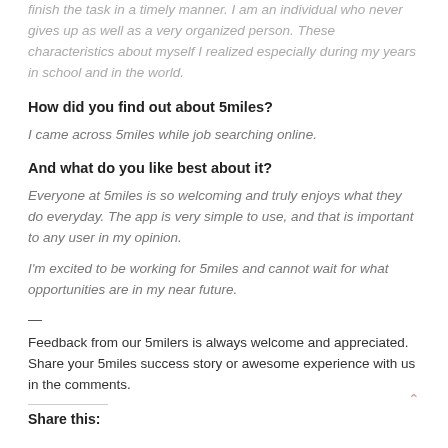finish the task in a timely manner. I am an individual who never gives up as well as a very organized person. These characteristics about myself I realized especially during my years in school and in the world.
How did you find out about 5miles?
I came across 5miles while job searching online.
And what do you like best about it?
Everyone at 5miles is so welcoming and truly enjoys what they do everyday. The app is very simple to use, and that is important to any user in my opinion.
I'm excited to be working for 5miles and cannot wait for what opportunities are in my near future.
—
Feedback from our 5milers is always welcome and appreciated. Share your 5miles success story or awesome experience with us in the comments.
Share this: